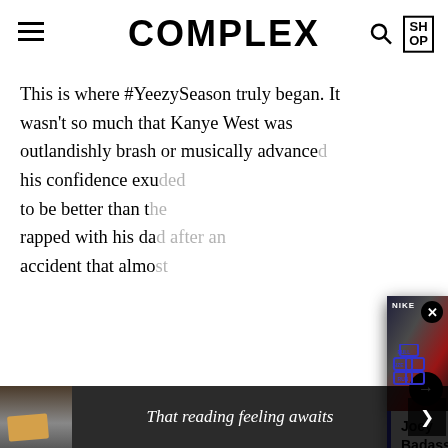COMPLEX
This is where #YeezySeason truly began. It wasn't so much that Kanye West was outlandishly brash or musically advance... his confidence exu... to be better than t... rapped with his da... accident that almo...
[Figure (screenshot): Floating video card overlay showing Joey Badass in a sneaker store with Nike boxes, wearing a grey hat. Full Size Run logo shown. Title: Joey Badass Resold Sneakers to Launch His Rap Career | Full Size Run]
The second verse w... from being a prom... legitimate rapper w...
[Figure (screenshot): Bottom ad banner showing 'That reading feeling awaits' with a person reading a book thumbnail on left]
That reading feeling awaits